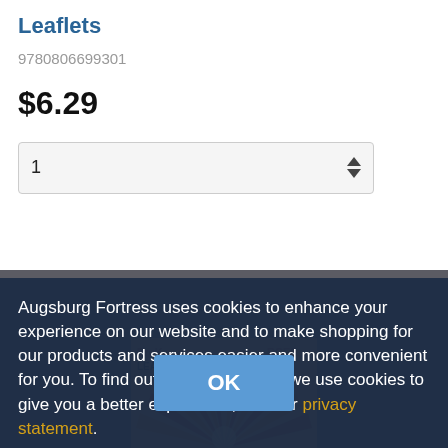Leaflets
9780806699301
$6.29
1
Augsburg Fortress uses cookies to enhance your experience on our website and to make shopping for our products and services easier and more convenient for you. To find out more about how we use cookies to give you a better experience, see our privacy statement.
OK